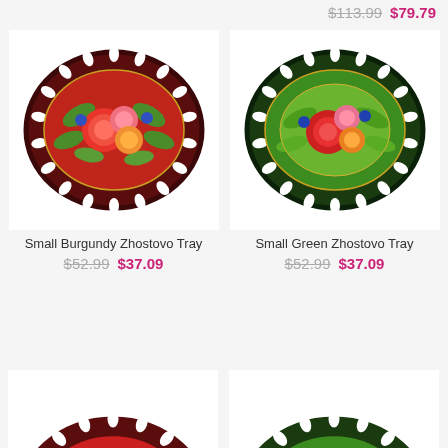$113.99  $79.79
[Figure (photo): Small Burgundy Zhostovo Tray - decorative painted tray with red background and floral design]
Small Burgundy Zhostovo Tray
$52.99  $37.09
[Figure (photo): Small Green Zhostovo Tray - decorative painted tray with green background and floral design]
Small Green Zhostovo Tray
$52.99  $37.09
[Figure (photo): Partial view of red Zhostovo tray at bottom left]
[Figure (photo): Partial view of green Zhostovo tray at bottom right]